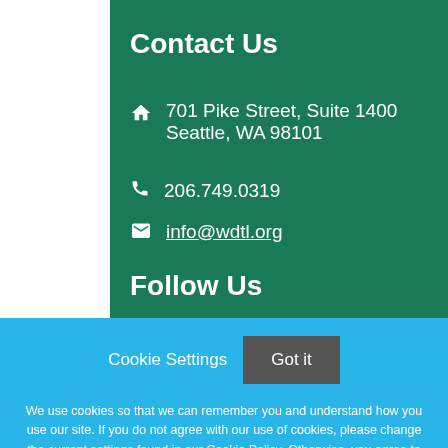Contact Us
701 Pike Street, Suite 1400 Seattle, WA 98101
206.749.0319
info@wdtl.org
Follow Us
Cookie Settings
Got it
We use cookies so that we can remember you and understand how you use our site. If you do not agree with our use of cookies, please change the current settings found in our Cookie Policy. Otherwise, you agree to the use of the cookies as they are currently set.